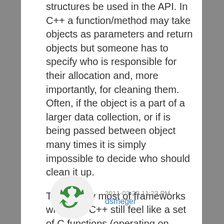structures be used in the API. In C++ a function/method may take objects as parameters and return objects but someone has to specify who is responsible for their allocation and, more importantly, for cleaning them. Often, if the object is a part of a larger data collection, or if is being passed between object many times it is simply impossible to decide who should clean it up.

This is why most of frameworks written in C++ still feel like a set of C functions (operating on primitive data) conveniently grouped into classes.
[Figure (illustration): Circular avatar image with a green recycling symbol on a light background]
2011-03-29 11:23 PM
dsmeger